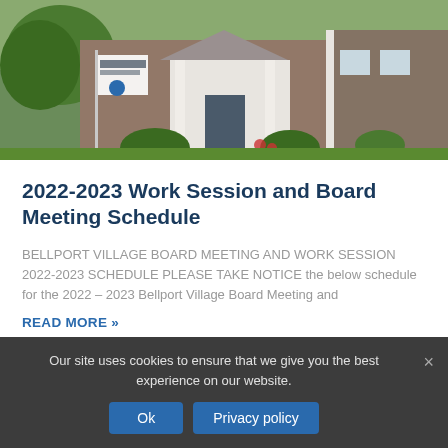[Figure (photo): Exterior photo of Bellport Village Hall building with sign, white columns, shingled facade, and landscaping with shrubs and flowers]
2022-2023 Work Session and Board Meeting Schedule
BELLPORT VILLAGE BOARD MEETING AND WORK SESSION 2022-2023 SCHEDULE PLEASE TAKE NOTICE the below schedule for the 2022 – 2023 Bellport Village Board Meeting and
READ MORE »
Our site uses cookies to ensure that we give you the best experience on our website.